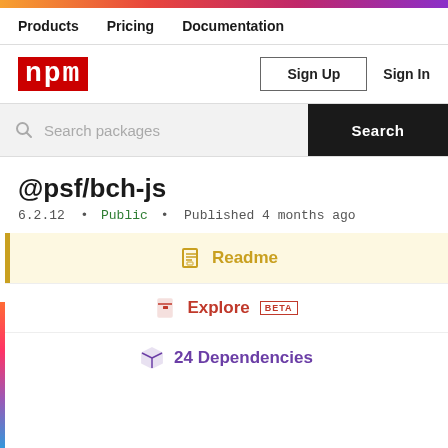npm - Products | Pricing | Documentation
[Figure (logo): npm logo in red background]
Sign Up | Sign In
Search packages
@psf/bch-js
6.2.12 • Public • Published 4 months ago
Readme
Explore BETA
24 Dependencies